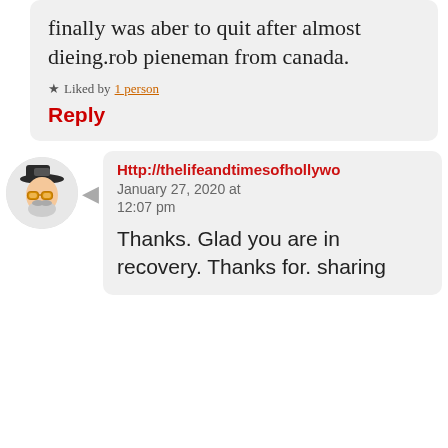finally was aber to quit after almost dieing.rob pieneman from canada.
Liked by 1 person
Reply
Http://thelifeandtimesofhollywo
January 27, 2020 at 12:07 pm
Thanks. Glad you are in recovery. Thanks for. sharing